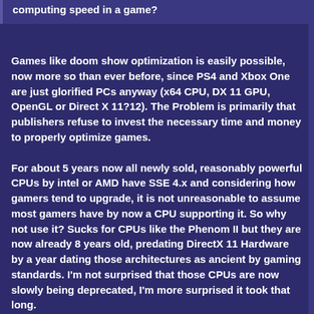computing speed in a game?
Games like doom show optimization is easily possible, now more so than ever before, since PS4 and Xbox One are just glorified PCs anyway (x64 CPU, DX 11 GPU, OpenGL or Direct X 11?12). The Problem is primarily that publishers refuse to invest the necessary time and money to properly optimize games.
For about 5 years now all newly sold, reasonably powerful CPUs by intel or AMD have SSE 4.x and considering how gamers tend to upgrade, it is not unreasonable to assume most gamers have by now a CPU supporting it. So why not use it? Sucks for CPUs like the Phenom II but they are now already 8 years old, predating DirectX 11 Hardware by a year dating those architectures as ancient by gaming standards. I'm not surprised that those CPUs are now slowly being deprecated, I'm more surprised it took that long.